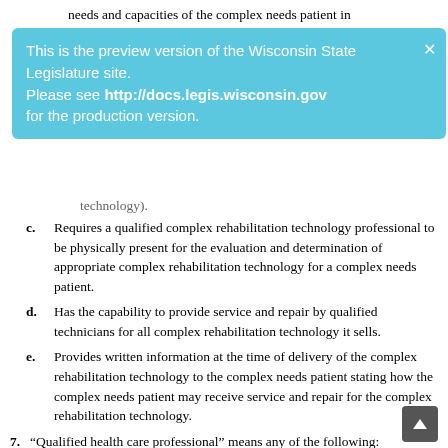needs and capacities of the complex needs patient in
This is the preview version of the Wisconsin State Legislature site. Please see http://docs.legis.wisconsin.gov for the production version.
technology).
c. Requires a qualified complex rehabilitation technology professional to be physically present for the evaluation and determination of appropriate complex rehabilitation technology for a complex needs patient.
d. Has the capability to provide service and repair by qualified technicians for all complex rehabilitation technology it sells.
e. Provides written information at the time of delivery of the complex rehabilitation technology to the complex needs patient stating how the complex needs patient may receive service and repair for the complex rehabilitation technology.
7. “Qualified health care professional” means any of the following:
a. A physician licensed under subch. II of ch. 448.
b. A physical therapist who is licensed under subch. III of ch. 448 or who holds a compact privilege under subch. XI of ch. 448.